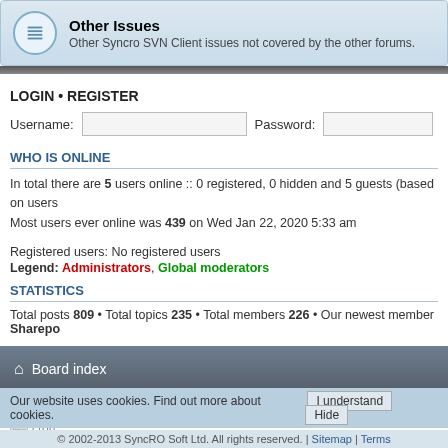[Figure (screenshot): Forum category row: 'Other Issues' with icon and description 'Other Syncro SVN Client issues not covered by the other forums.']
LOGIN • REGISTER
Username: [input] Password: [input]
WHO IS ONLINE
In total there are 5 users online :: 0 registered, 0 hidden and 5 guests (based on users active over the past 5 minutes)
Most users ever online was 439 on Wed Jan 22, 2020 5:33 am
Registered users: No registered users
Legend: Administrators, Global moderators
STATISTICS
Total posts 809 • Total topics 235 • Total members 226 • Our newest member Sharepo
Board index
Powered by phpBB © 200
[Figure (other): cron image placeholder]
Our website uses cookies. Find out more about cookies. | I understand. Hide
© 2002-2013 SyncRO Soft Ltd. All rights reserved. | Sitemap | Terms